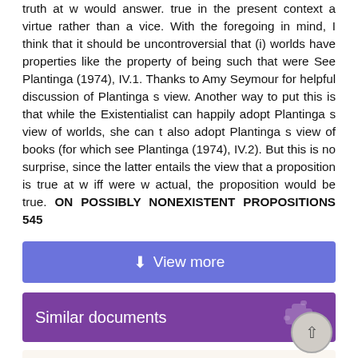truth at w would answer. true in the present context a virtue rather than a vice. With the foregoing in mind, I think that it should be uncontroversial that (i) worlds have properties like the property of being such that were See Plantinga (1974), IV.1. Thanks to Amy Seymour for helpful discussion of Plantinga s view. Another way to put this is that while the Existentialist can happily adopt Plantinga s view of worlds, she can t also adopt Plantinga s view of books (for which see Plantinga (1974), IV.2). But this is no surprise, since the latter entails the view that a proposition is true at w iff were w actual, the proposition would be true. ON POSSIBLY NONEXISTENT PROPOSITIONS 545
[Figure (other): Blue 'View more' button with download icon]
Similar documents
On possibly nonexistent propositions
On possibly nonexistent propositions Jeff Speaks January 25, 2011 abstract. Alvin Plantinga gave a reductio of the conjunction